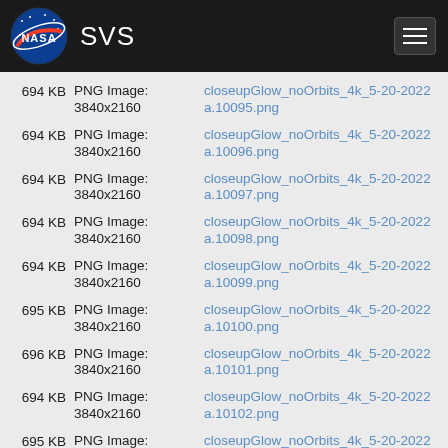[Figure (logo): NASA SVS header with NASA meatball logo on dark background and hamburger menu button]
694 KB  PNG Image: 3840x2160  closeupGlow_noOrbits_4k_5-20-2022a.10095.png
694 KB  PNG Image: 3840x2160  closeupGlow_noOrbits_4k_5-20-2022a.10096.png
694 KB  PNG Image: 3840x2160  closeupGlow_noOrbits_4k_5-20-2022a.10097.png
694 KB  PNG Image: 3840x2160  closeupGlow_noOrbits_4k_5-20-2022a.10098.png
694 KB  PNG Image: 3840x2160  closeupGlow_noOrbits_4k_5-20-2022a.10099.png
695 KB  PNG Image: 3840x2160  closeupGlow_noOrbits_4k_5-20-2022a.10100.png
696 KB  PNG Image: 3840x2160  closeupGlow_noOrbits_4k_5-20-2022a.10101.png
694 KB  PNG Image: 3840x2160  closeupGlow_noOrbits_4k_5-20-2022a.10102.png
695 KB  PNG Image: 3840x2160  closeupGlow_noOrbits_4k_5-20-2022a.10103.png
696 KB  PNG Image: closeupGlow_noOrbits_4k_5-20- (partial)